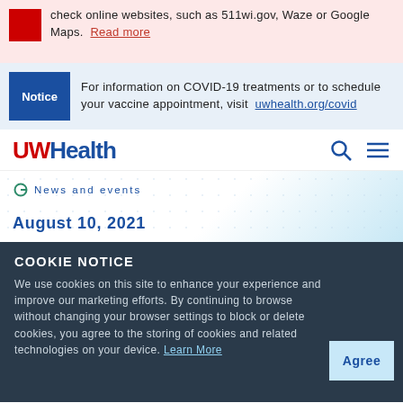check online websites, such as 511wi.gov, Waze or Google Maps. Read more
Notice — For information on COVID-19 treatments or to schedule your vaccine appointment, visit uwhealth.org/covid
[Figure (logo): UWHealth logo in red and blue]
News and events
August 10, 2021
Delta variant
COOKIE NOTICE
We use cookies on this site to enhance your experience and improve our marketing efforts. By continuing to browse without changing your browser settings to block or delete cookies, you agree to the storing of cookies and related technologies on your device. Learn More
Agree